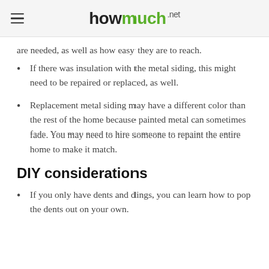howmuch.net
are needed, as well as how easy they are to reach.
If there was insulation with the metal siding, this might need to be repaired or replaced, as well.
Replacement metal siding may have a different color than the rest of the home because painted metal can sometimes fade. You may need to hire someone to repaint the entire home to make it match.
DIY considerations
If you only have dents and dings, you can learn how to pop the dents out on your own.